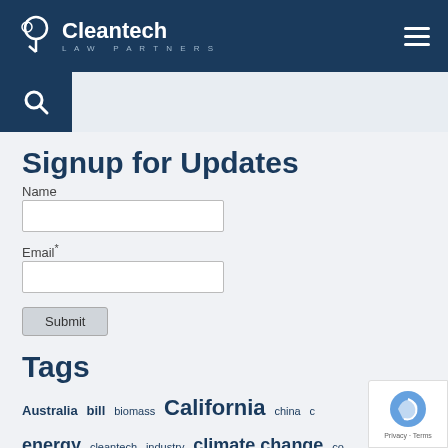Cleantech Law Partners
Signup for Updates
Name
Email*
Submit
Tags
Australia bill biomass California china c… energy cleantech industry climate change co…